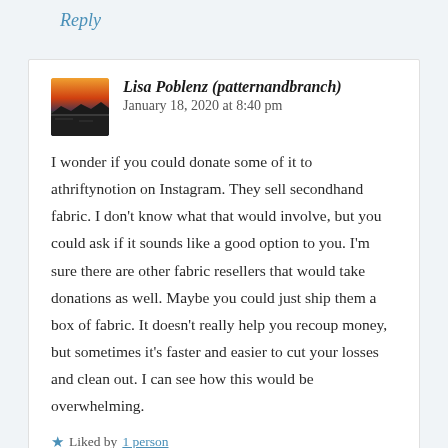Reply
Lisa Poblenz (patternandbranch)   January 18, 2020 at 8:40 pm
I wonder if you could donate some of it to athriftynotion on Instagram. They sell secondhand fabric. I don't know what that would involve, but you could ask if it sounds like a good option to you. I'm sure there are other fabric resellers that would take donations as well. Maybe you could just ship them a box of fabric. It doesn't really help you recoup money, but sometimes it's faster and easier to cut your losses and clean out. I can see how this would be overwhelming.
Liked by 1 person